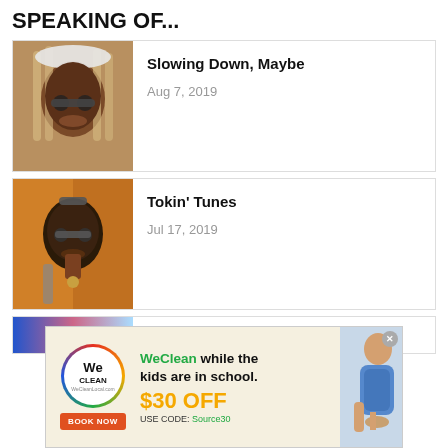SPEAKING OF...
Slowing Down, Maybe — Aug 7, 2019
Tokin' Tunes — Jul 17, 2019
High Desert Hip-Hop
[Figure (infographic): WeClean advertisement banner: WeClean while the kids are in school. $30 OFF USE CODE: Source30. BOOK NOW button.]